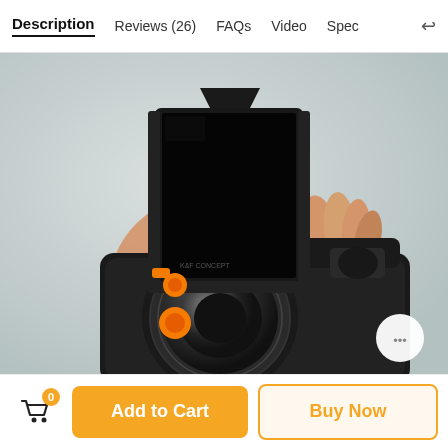Description   Reviews (26)   FAQs   Video   Spec
[Figure (photo): A hand holding a camera lens filter holder (square filter system) in front of a DSLR camera with a large lens. The filter holder is black with orange accents and holds a dark square filter. The camera body is black.]
Add to Cart
Buy Now